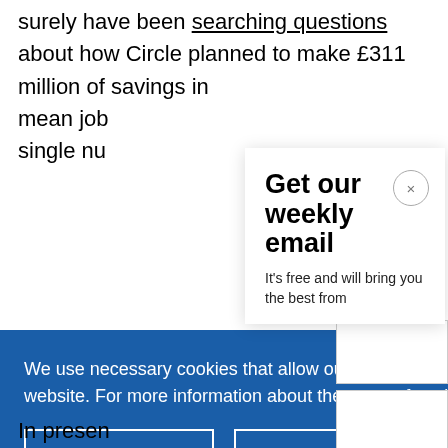surely have been searching questions about how Circle planned to make £311 million of savings in mean jobs single nu
Get our weekly email
It's free and will bring you the best from
We use necessary cookies that allow our site to work. We also set optional cookies that help us improve our website. For more information about the types of cookies we use. READ OUR COOKIES POLICY HERE
COOKIE SETTINGS
ALLOW ALL COOKIES
data.
In presen